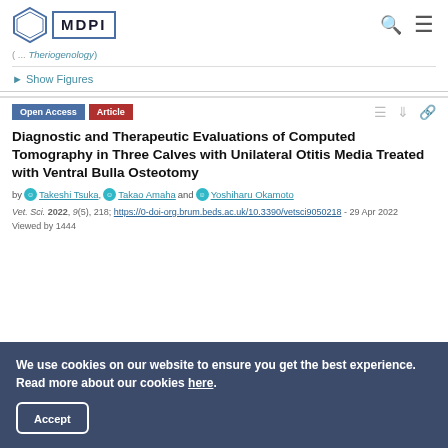MDPI
Theriogenology)
► Show Figures
Open Access  Article
Diagnostic and Therapeutic Evaluations of Computed Tomography in Three Calves with Unilateral Otitis Media Treated with Ventral Bulla Osteotomy
by Takeshi Tsuka, Takao Amaha and Yoshiharu Okamoto
Vet. Sci. 2022, 9(5), 218; https://0-doi-org.brum.beds.ac.uk/10.3390/vetsci9050218 - 29 Apr 2022
Viewed by 1444
We use cookies on our website to ensure you get the best experience. Read more about our cookies here.
Accept